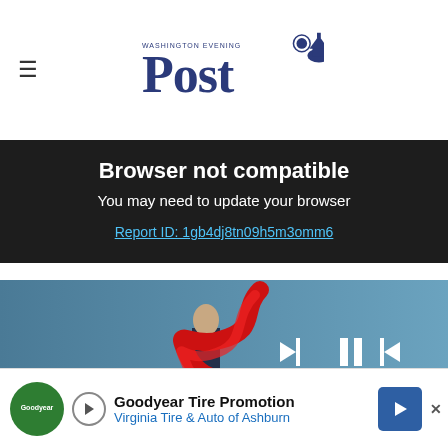Washington Evening Post
Browser not compatible
You may need to update your browser
Report ID: 1gb4dj8tn09h5m3omm6
[Figure (illustration): Video player showing a dark-suited figure wrapped in a red ribbon/snake on a blue background, with playback controls and a progress bar. Caption reads: The Line: Let the Recession Debate Begin]
The Line: Let the Recession Debate Begin
He sa...nt the press...
[Figure (other): Goodyear Tire Promotion advertisement banner: Virginia Tire & Auto of Ashburn, with green Goodyear logo, play button, and blue arrow button]